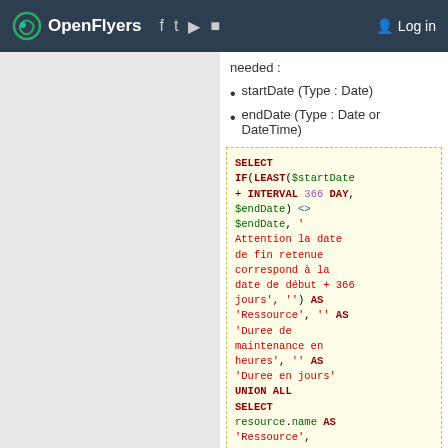OpenFlyers | Log in
needed :
startDate (Type : Date)
endDate (Type : Date or DateTime)
[Figure (screenshot): SQL code block with colored syntax: SELECT IF(LEAST($startDate + INTERVAL 366 DAY, $endDate) <> $endDate, 'Attention la date de fin retenue correspond à la date de début + 366 jours', '') AS 'Ressource', '' AS 'Duree de maintenance en heures', '' AS 'Duree en jours' UNION ALL SELECT resource.name AS 'Ressource',]